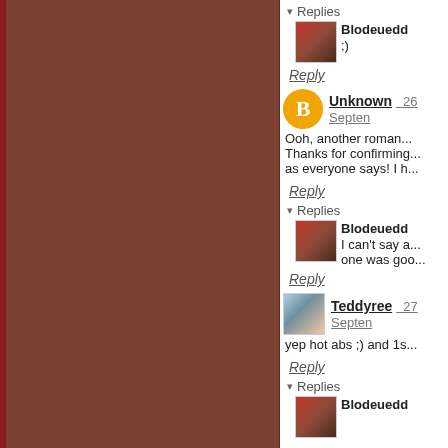[Figure (illustration): Brown/reddish-brown decorative panel on the left side of a blog page]
Replies
Blodeuedd
;)
Reply
Unknown  26 Septer...
Ooh, another roman... Thanks for confirming... as everyone says! I h...
Reply
Replies
Blodeuedd
I can't say a... one was goo...
Reply
Teddyree  27 Septer...
yep hot abs ;) and 1s...
Reply
Replies
Blodeuedd